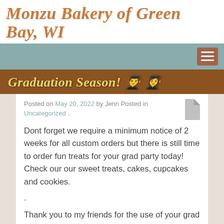Monzu Bakery of Green Bay, WI
[Figure (screenshot): Navigation bar with teal/sage background and brown hamburger menu button on the right]
Graduation Season! 👨‍🎓 👩‍🎓
Posted on May 20, 2022 by Jenn Posted in Uncategorized .
Dont forget we require a minimum notice of 2 weeks for all custom orders but there is still time to order fun treats for your grad party today! Check our our sweet treats, cakes, cupcakes and cookies.
.
Thank you to my friends for the use of your grad photos for the website...